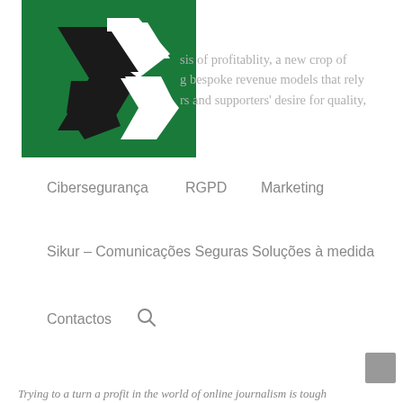[Figure (logo): Sikur logo: green square background with black and white geometric arrow/shield shapes]
sis of profitablity, a new crop of g bespoke revenue models that rely rs and supporters' desire for quality,
Cibersegurança
RGPD
Marketing
Sikur – Comunicações Seguras
Soluções à medida
Contactos
Trying to a turn a profit in the world of online journalism is tough